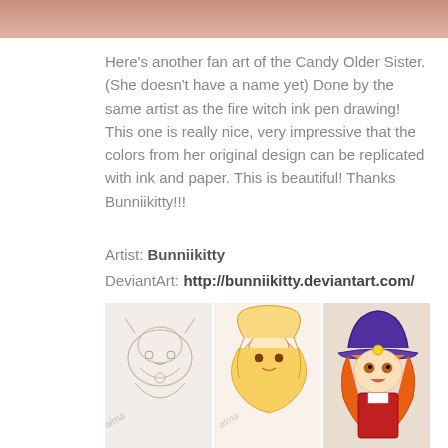[Figure (photo): Partial view of a fan art image at the top of the page, showing a warm pinkish skin-toned illustration]
Here's another fan art of the Candy Older Sister. (She doesn't have a name yet) Done by the same artist as the fire witch ink pen drawing! This one is really nice, very impressive that the colors from her original design can be replicated with ink and paper. This is beautiful! Thanks Bunniikitty!!!
Artist: Bunniikitty
DeviantArt: http://bunniikitty.deviantart.com/
Here are the WIP images of both the fan arts from above:
[Figure (photo): Three WIP (work in progress) images of fan art: a pencil sketch on the left, a line art in the middle, and a colored version on the right showing an anime-style character with orange/red hair wearing a purple witch hat]